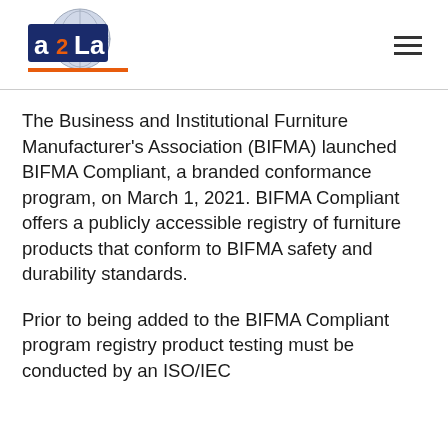[Figure (logo): A2LA (American Association for Laboratory Accreditation) logo with globe graphic and orange underline]
The Business and Institutional Furniture Manufacturer's Association (BIFMA) launched BIFMA Compliant, a branded conformance program, on March 1, 2021. BIFMA Compliant offers a publicly accessible registry of furniture products that conform to BIFMA safety and durability standards.
Prior to being added to the BIFMA Compliant program registry product testing must be conducted by an ISO/IEC